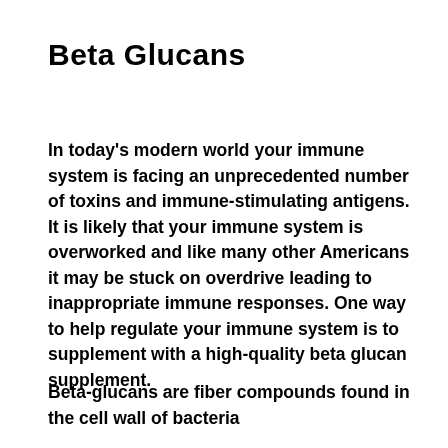Beta Glucans
In today's modern world your immune system is facing an unprecedented number of toxins and immune-stimulating antigens. It is likely that your immune system is overworked and like many other Americans it may be stuck on overdrive leading to inappropriate immune responses. One way to help regulate your immune system is to supplement with a high-quality beta glucan supplement.
Beta-glucans are fiber compounds found in the cell wall of bacteria